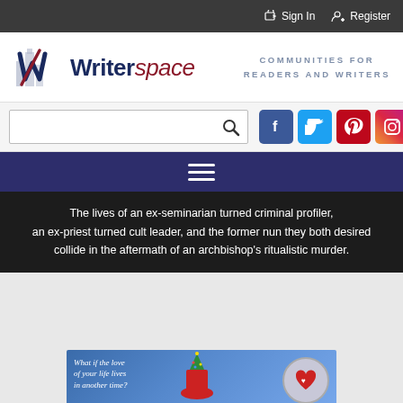Sign In  Register
[Figure (logo): Writerspace logo with stylized W and city buildings, text reads 'Writerspace' and tagline 'COMMUNITIES FOR READERS AND WRITERS']
[Figure (screenshot): Search box with magnifying glass icon, and social media icons for Facebook, Twitter, Pinterest, Instagram]
[Figure (screenshot): Dark navy navigation bar with hamburger menu icon]
The lives of an ex-seminarian turned criminal profiler, an ex-priest turned cult leader, and the former nun they both desired collide in the aftermath of an archbishop's ritualistic murder.
[Figure (photo): Partial view of a book cover showing a woman in a red hat with text 'What if the love of your life lives in another time?' and a heart logo]